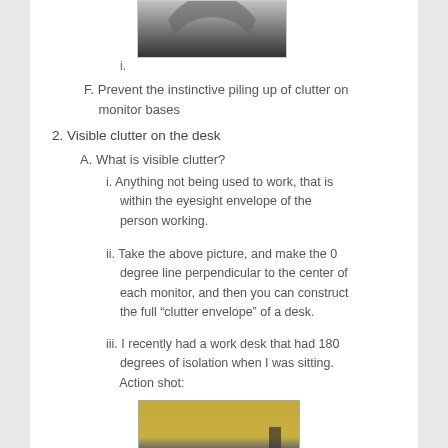[Figure (photo): Top portion of a photo showing an arched structure against a dark background, labeled i.]
F. Prevent the instinctive piling up of clutter on monitor bases
2. Visible clutter on the desk
A. What is visible clutter?
i. Anything not being used to work, that is within the eyesight envelope of the person working.
ii. Take the above picture, and make the 0 degree line perpendicular to the center of each monitor, and then you can construct the full “clutter envelope” of a desk.
iii. I recently had a work desk that had 180 degrees of isolation when I was sitting. Action shot:
[Figure (photo): Bottom portion of a photo showing a yellow/golden wall with what appears to be a dark frame or monitor.]